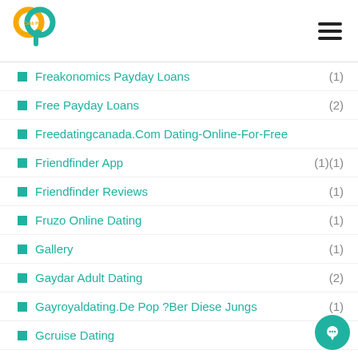Carib Pay App
Freakonomics Payday Loans (1)
Free Payday Loans (2)
Freedatingcanada.Com Dating-Online-For-Free
Friendfinder App (1)(1)
Friendfinder Reviews (1)
Fruzo Online Dating (1)
Gallery (1)
Gaydar Adult Dating (2)
Gayroyaldating.De Pop ?Ber Diese Jungs (1)
Gcruise Dating (1)
Georgia Payday Loan (1)